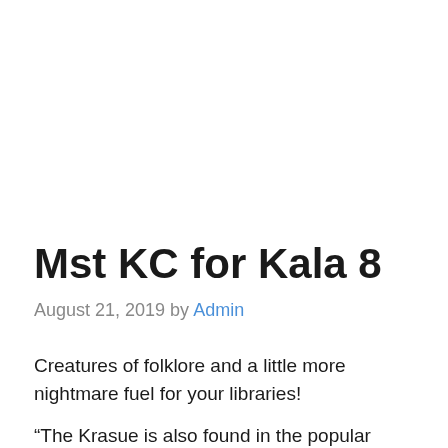Mst KC for Kala 8
August 21, 2019 by Admin
Creatures of folklore and a little more nightmare fuel for your libraries!
“The Krasue is also found in the popular